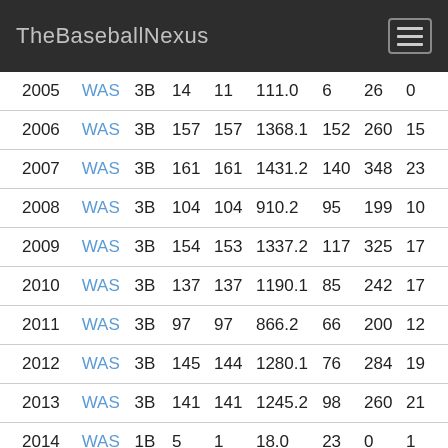TheBaseballNexus
| 2005 | WAS | 3B | 14 | 11 | 111.0 | 6 | 26 | 0 |
| 2006 | WAS | 3B | 157 | 157 | 1368.1 | 152 | 260 | 15 |
| 2007 | WAS | 3B | 161 | 161 | 1431.2 | 140 | 348 | 23 |
| 2008 | WAS | 3B | 104 | 104 | 910.2 | 95 | 199 | 10 |
| 2009 | WAS | 3B | 154 | 153 | 1337.2 | 117 | 325 | 17 |
| 2010 | WAS | 3B | 137 | 137 | 1190.1 | 85 | 242 | 17 |
| 2011 | WAS | 3B | 97 | 97 | 866.2 | 66 | 200 | 12 |
| 2012 | WAS | 3B | 145 | 144 | 1280.1 | 76 | 284 | 19 |
| 2013 | WAS | 3B | 141 | 141 | 1245.2 | 98 | 260 | 21 |
| 2014 | WAS | 1B | 5 | 1 | 18.0 | 23 | 0 | 1 |
| 2014 | WAS | 3B | 23 | 23 | 184.1 | 18 | 37 | 3 |